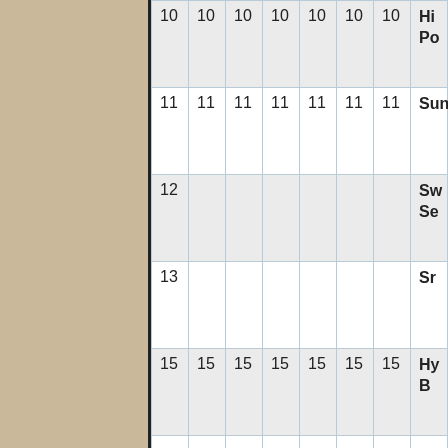| 10 | 10 | 10 | 10 | 10 | 10 | 10 | Hi Po |
| 11 | 11 | 11 | 11 | 11 | 11 | 11 | Sun |
| 12 |  |  |  |  |  |  | Sw Se |
| 13 |  |  |  |  |  |  | Sr |
| 15 | 15 | 15 | 15 | 15 | 15 | 15 | Hy B |
|  |  |  |  |  |  |  |  |